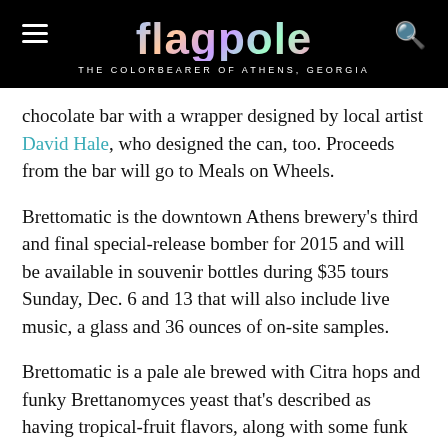flagpole — THE COLORBEARER OF ATHENS, GEORGIA
chocolate bar with a wrapper designed by local artist David Hale, who designed the can, too. Proceeds from the bar will go to Meals on Wheels.
Brettomatic is the downtown Athens brewery's third and final special-release bomber for 2015 and will be available in souvenir bottles during $35 tours Sunday, Dec. 6 and 13 that will also include live music, a glass and 36 ounces of on-site samples.
Brettomatic is a pale ale brewed with Citra hops and funky Brettanomyces yeast that's described as having tropical-fruit flavors, along with some funk and subtle black pepper, similar to last year's sought-after Southerly